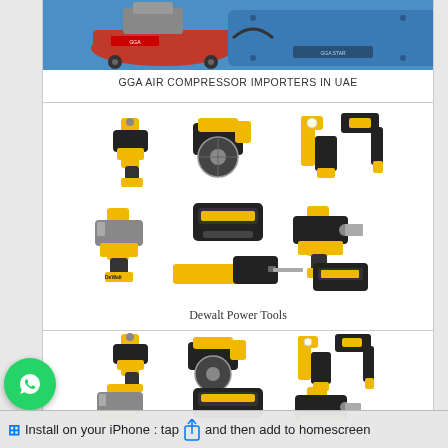[Figure (photo): Air compressor product image showing a red and blue industrial air compressor]
GGA AIR COMPRESSOR IMPORTERS IN UAE
[Figure (photo): Collection of Dewalt yellow and black power tools including drill, circular saw, flashlight, impact driver, battery pack, reciprocating saw, and right angle drill]
Dewalt Power Tools
[Figure (photo): Partial view of another set of Dewalt yellow and black power tools, same collection as above]
[Figure (screenshot): WhatsApp green chat bubble icon in bottom left corner]
Install on your iPhone : tap  and then add to homescreen